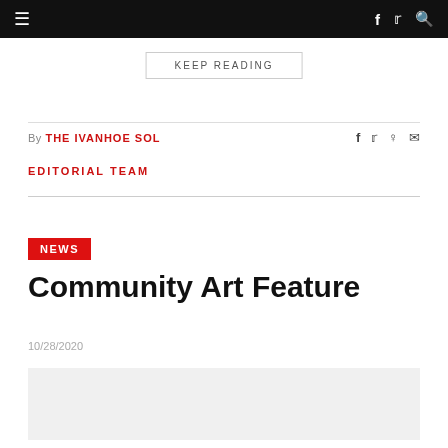Navigation bar with hamburger menu, social icons (f, Twitter, search)
KEEP READING
By THE IVANHOE SOL  EDITORIAL TEAM
Community Art Feature
10/28/2020
[Figure (photo): Image placeholder at bottom of page]